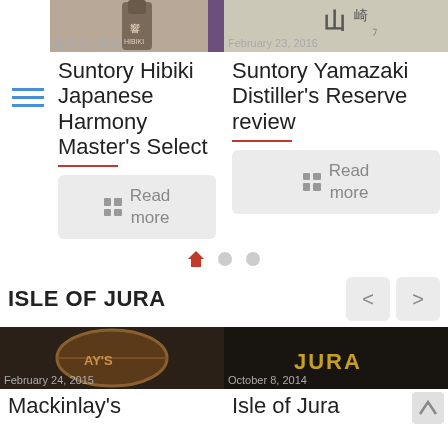[Figure (screenshot): Two article cards showing Suntory whisky reviews. Left card: photo of Hibiki bottle, date April 29 2018, title Suntory Hibiki Japanese Harmony Master's Select, red divider, Read more button. Right card: Japanese text logo, date February 23 2016, title Suntory Yamazaki Distiller's Reserve review, red divider, Read more button.]
April 29, 2018
February 23, 2016
Suntory Hibiki Japanese Harmony Master's Select
Suntory Yamazaki Distiller's Reserve review
Read more
Read more
ISLE OF JURA
February 24, 2015
October 8, 2014
Mackinlay's
Isle of Jura